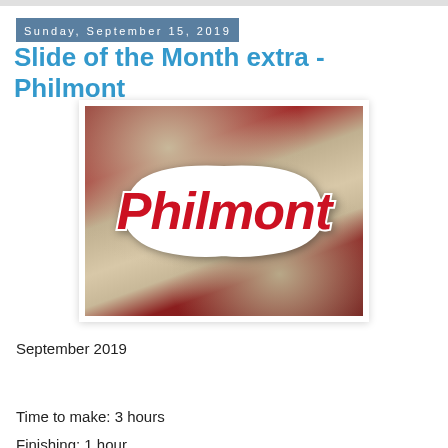Sunday, September 15, 2019
Slide of the Month extra - Philmont
[Figure (photo): Close-up photo of a red and white 'Philmont' embroidered patch or badge placed on red and tan/beige fabric or clothing.]
September 2019
Time to make: 3 hours
Finishing: 1 hour